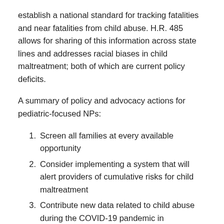establish a national standard for tracking fatalities and near fatalities from child abuse. H.R. 485 allows for sharing of this information across state lines and addresses racial biases in child maltreatment; both of which are current policy deficits.
A summary of policy and advocacy actions for pediatric-focused NPs:
Screen all families at every available opportunity
Consider implementing a system that will alert providers of cumulative risks for child maltreatment
Contribute new data related to child abuse during the COVID-19 pandemic in accordance with UNICEF recommendations
Support comprehensive policies that address child maltreatment disparities at the system and state level through a nationally established standard (HR 485)